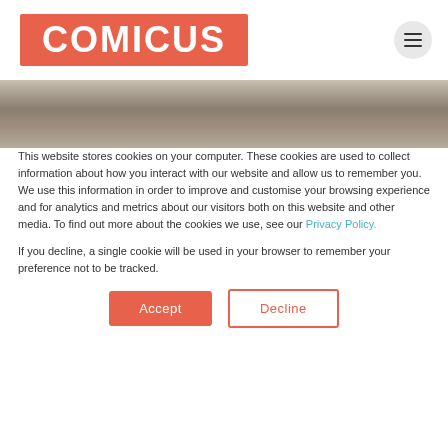[Figure (logo): COMICUS logo — white bold text on coral/salmon orange rounded rectangle background]
[Figure (photo): Close-up photo of a person wearing a white shirt and suspenders, headphones or wires visible, face partially cropped]
This website stores cookies on your computer. These cookies are used to collect information about how you interact with our website and allow us to remember you. We use this information in order to improve and customise your browsing experience and for analytics and metrics about our visitors both on this website and other media. To find out more about the cookies we use, see our Privacy Policy.
If you decline, a single cookie will be used in your browser to remember your preference not to be tracked.
Accept
Decline